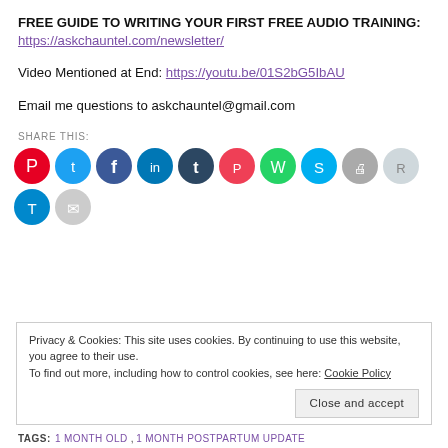FREE GUIDE TO WRITING YOUR FIRST FREE AUDIO TRAINING: https://askchauntel.com/newsletter/
Video Mentioned at End: https://youtu.be/01S2bG5IbAU
Email me questions to askchauntel@gmail.com
SHARE THIS:
[Figure (other): Row of social media share icon buttons: Pinterest (red), Twitter (blue), Facebook (blue), LinkedIn (blue), Tumblr (dark navy), Pocket (red), WhatsApp (green), Skype (teal), Print (gray), Reddit (light gray), Telegram (blue), Email (gray)]
Privacy & Cookies: This site uses cookies. By continuing to use this website, you agree to their use. To find out more, including how to control cookies, see here: Cookie Policy
Close and accept
TAGS: 1 MONTH OLD, 1 MONTH POSTPARTUM UPDATE